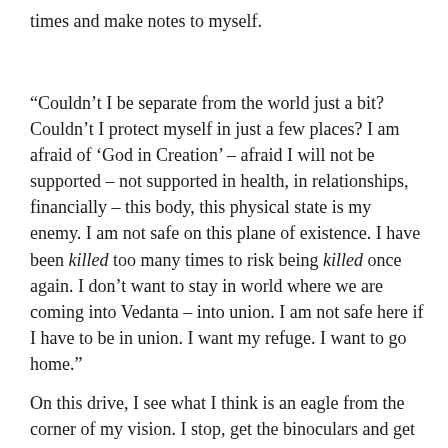times and make notes to myself.
“Couldn’t I be separate from the world just a bit? Couldn’t I protect myself in just a few places? I am afraid of ‘God in Creation’ – afraid I will not be supported – not supported in health, in relationships, financially – this body, this physical state is my enemy. I am not safe on this plane of existence. I have been killed too many times to risk being killed once again. I don’t want to stay in world where we are coming into Vedanta – into union. I am not safe here if I have to be in union. I want my refuge. I want to go home.”
On this drive, I see what I think is an eagle from the corner of my vision. I stop, get the binoculars and get out to watch